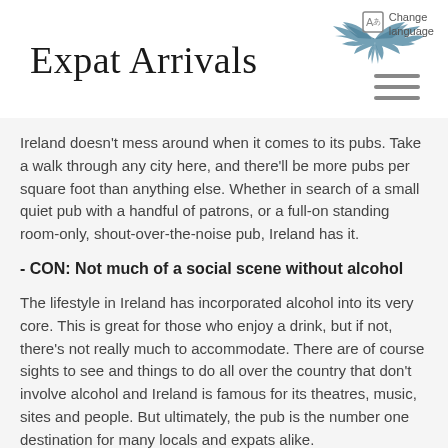Expat Arrivals | Change language
Ireland doesn't mess around when it comes to its pubs. Take a walk through any city here, and there'll be more pubs per square foot than anything else. Whether in search of a small quiet pub with a handful of patrons, or a full-on standing room-only, shout-over-the-noise pub, Ireland has it.
- CON: Not much of a social scene without alcohol
The lifestyle in Ireland has incorporated alcohol into its very core. This is great for those who enjoy a drink, but if not, there's not really much to accommodate. There are of course sights to see and things to do all over the country that don't involve alcohol and Ireland is famous for its theatres, music, sites and people. But ultimately, the pub is the number one destination for many locals and expats alike.